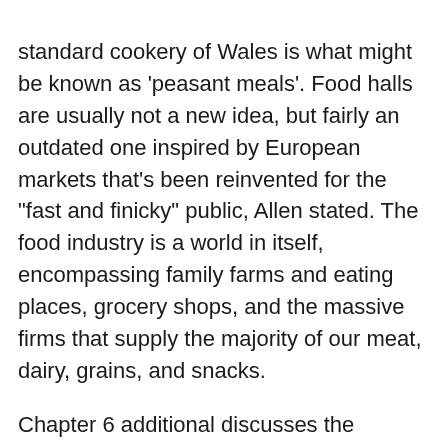standard cookery of Wales is what might be known as 'peasant meals'. Food halls are usually not a new idea, but fairly an outdated one inspired by European markets that's been reinvented for the "fast and finicky" public, Allen stated. The food industry is a world in itself, encompassing family farms and eating places, grocery shops, and the massive firms that supply the majority of our meat, dairy, grains, and snacks.
Chapter 6 additional discusses the Americanization of cuisine through the adoption and adaptation of sure immigrant foods as American. Total Veit deftly covers a breadth of subjects to reveal the paradigm shift of American attitudes toward food from home to the...